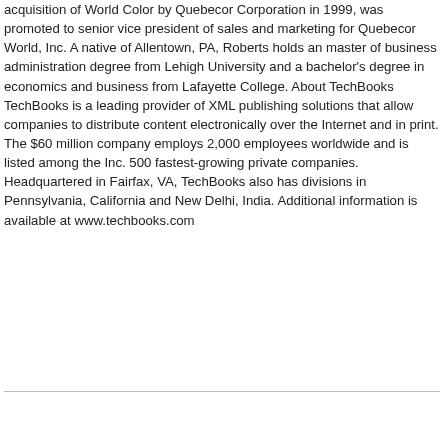acquisition of World Color by Quebecor Corporation in 1999, was promoted to senior vice president of sales and marketing for Quebecor World, Inc. A native of Allentown, PA, Roberts holds an master of business administration degree from Lehigh University and a bachelor's degree in economics and business from Lafayette College. About TechBooks TechBooks is a leading provider of XML publishing solutions that allow companies to distribute content electronically over the Internet and in print. The $60 million company employs 2,000 employees worldwide and is listed among the Inc. 500 fastest-growing private companies. Headquartered in Fairfax, VA, TechBooks also has divisions in Pennsylvania, California and New Delhi, India. Additional information is available at www.techbooks.com